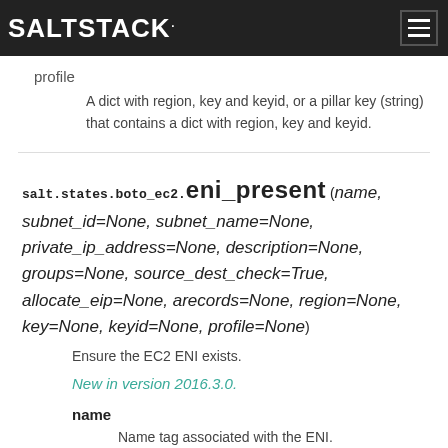SALTSTACK
profile
A dict with region, key and keyid, or a pillar key (string) that contains a dict with region, key and keyid.
salt.states.boto_ec2.eni_present(name, subnet_id=None, subnet_name=None, private_ip_address=None, description=None, groups=None, source_dest_check=True, allocate_eip=None, arecords=None, region=None, key=None, keyid=None, profile=None)
Ensure the EC2 ENI exists.
New in version 2016.3.0.
name
Name tag associated with the ENI.